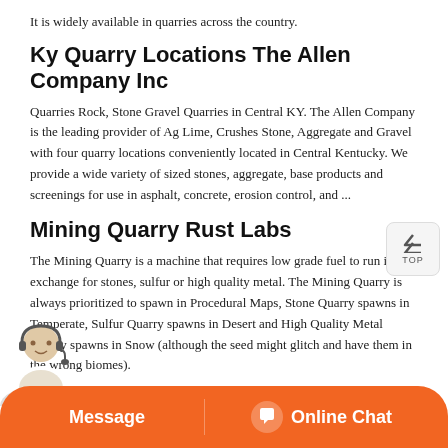It is widely available in quarries across the country.
Ky Quarry Locations The Allen Company Inc
Quarries Rock, Stone Gravel Quarries in Central KY. The Allen Company is the leading provider of Ag Lime, Crushes Stone, Aggregate and Gravel with four quarry locations conveniently located in Central Kentucky. We provide a wide variety of sized stones, aggregate, base products and screenings for use in asphalt, concrete, erosion control, and ...
Mining Quarry Rust Labs
The Mining Quarry is a machine that requires low grade fuel to run in exchange for stones, sulfur or high quality metal. The Mining Quarry is always prioritized to spawn in Procedural Maps, Stone Quarry spawns in Temperate, Sulfur Quarry spawns in Desert and High Quality Metal Quarry spawns in Snow (although the seed might glitch and have them in the wrong biomes).
How To Haul Rock Trucking Forum